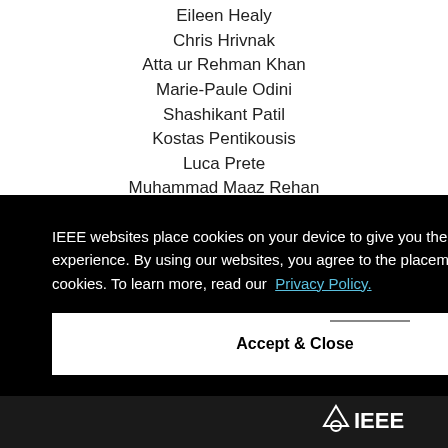Eileen Healy
Chris Hrivnak
Atta ur Rehman Khan
Marie-Paule Odini
Shashikant Patil
Kostas Pentikousis
Luca Prete
Muhammad Maaz Rehan
Mubashir Rehmani
IEEE websites place cookies on your device to give you the best user experience. By using our websites, you agree to the placement of these cookies. To learn more, read our Privacy Policy.
Accept & Close
[Figure (logo): IEEE logo at bottom right corner]